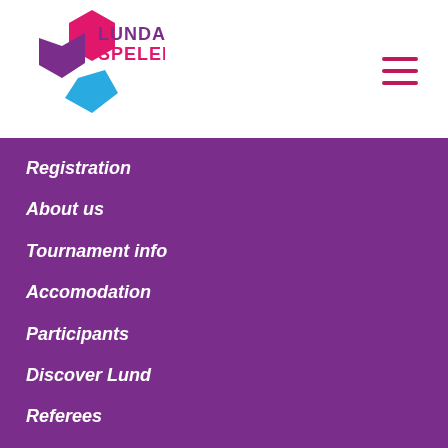[Figure (logo): Lundaspelen logo with pink, purple and blue geometric shapes resembling a soccer ball, with text LUNDA SPELEN in purple and pink]
Registration
About us
Tournament info
Accomodation
Participants
Discover Lund
Referees